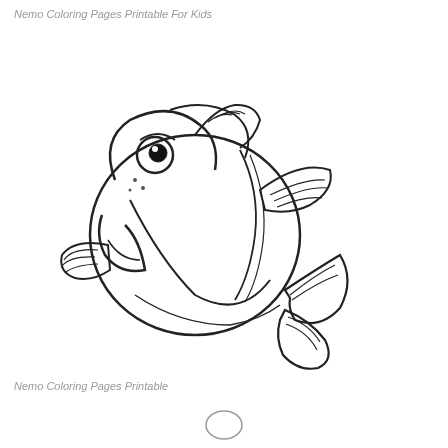Nemo Coloring Pages Printable For Kids
[Figure (illustration): Line drawing of Dory fish character from Finding Nemo, shown as a coloring page outline. The fish faces left with a large eye, smiling mouth, pectoral fins, dorsal fin, and tail fin. The body is round and the drawing is uncolored black-and-white outline style suitable for coloring.]
Nemo Coloring Pages Printable